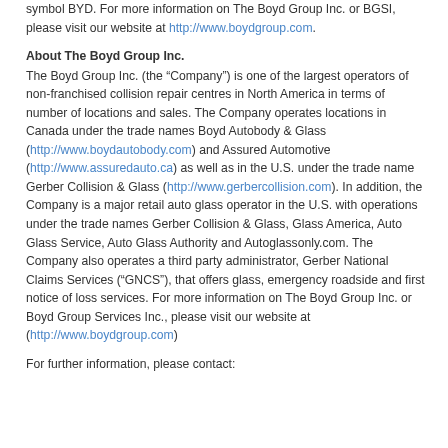symbol BYD. For more information on The Boyd Group Inc. or BGSI, please visit our website at http://www.boydgroup.com.
About The Boyd Group Inc.
The Boyd Group Inc. (the "Company") is one of the largest operators of non-franchised collision repair centres in North America in terms of number of locations and sales. The Company operates locations in Canada under the trade names Boyd Autobody & Glass (http://www.boydautobody.com) and Assured Automotive (http://www.assuredauto.ca) as well as in the U.S. under the trade name Gerber Collision & Glass (http://www.gerbercollision.com). In addition, the Company is a major retail auto glass operator in the U.S. with operations under the trade names Gerber Collision & Glass, Glass America, Auto Glass Service, Auto Glass Authority and Autoglassonly.com. The Company also operates a third party administrator, Gerber National Claims Services ("GNCS"), that offers glass, emergency roadside and first notice of loss services. For more information on The Boyd Group Inc. or Boyd Group Services Inc., please visit our website at (http://www.boydgroup.com)
For further information, please contact: